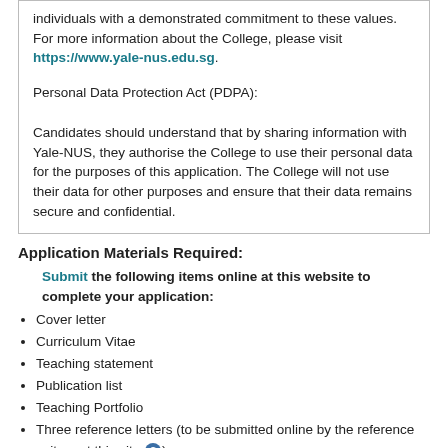individuals with a demonstrated commitment to these values. For more information about the College, please visit https://www.yale-nus.edu.sg.
Personal Data Protection Act (PDPA):
Candidates should understand that by sharing information with Yale-NUS, they authorise the College to use their personal data for the purposes of this application. The College will not use their data for other purposes and ensure that their data remains secure and confidential.
Application Materials Required:
Submit the following items online at this website to complete your application:
Cover letter
Curriculum Vitae
Teaching statement
Publication list
Teaching Portfolio
Three reference letters (to be submitted online by the reference writers at this site ?)
And anything else requested in the position description.
Further Info: